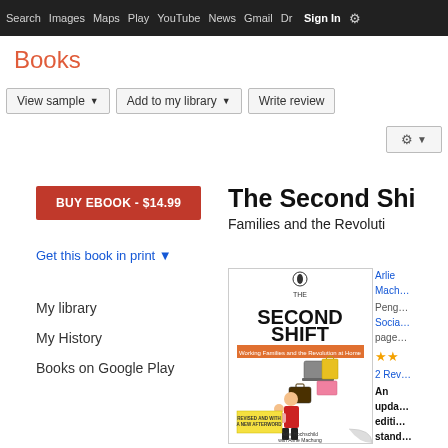Search  Images  Maps  Play  YouTube  News  Gmail  Drive  More  Sign In
Books
View sample ▼   Add to my library ▼   Write review
BUY EBOOK - $14.99
The Second Shi...
Families and the Revoluti...
Get this book in print ▼
My library
My History
Books on Google Play
[Figure (photo): Book cover of The Second Shift by Arlie Hochschild with Anne Machung, showing a woman holding a baby with floating objects (laptop, briefcase, shopping bag). Penguin Books edition. Subtitle: Working Families and the Revolution at Home.]
Arlie Mach... Peng... Socia... pages ★★ 2 Rev... An upda... editi... stand...